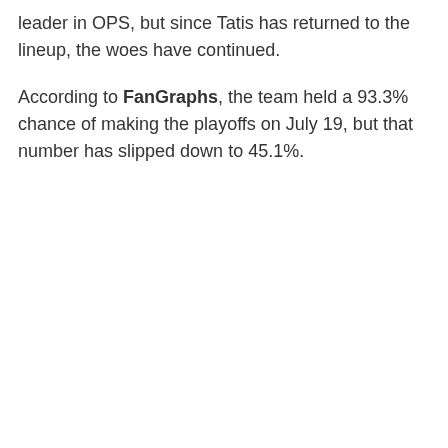leader in OPS, but since Tatis has returned to the lineup, the woes have continued.
According to FanGraphs, the team held a 93.3% chance of making the playoffs on July 19, but that number has slipped down to 45.1%.